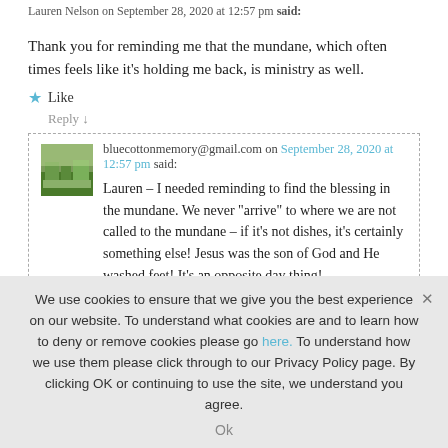Lauren Nelson on September 28, 2020 at 12:57 pm said:
Thank you for reminding me that the mundane, which often times feels like it's holding me back, is ministry as well.
★ Like
Reply ↓
bluecottonmemory@gmail.com on September 28, 2020 at 12:57 pm said:
Lauren – I needed reminding to find the blessing in the mundane. We never "arrive" to where we are not called to the mundane – if it's not dishes, it's certainly something else! Jesus was the son of God and He washed feet! It's an opposite day thing!
We use cookies to ensure that we give you the best experience on our website. To understand what cookies are and to learn how to deny or remove cookies please go here. To understand how we use them please click through to our Privacy Policy page. By clicking OK or continuing to use the site, we understand you agree.
Ok